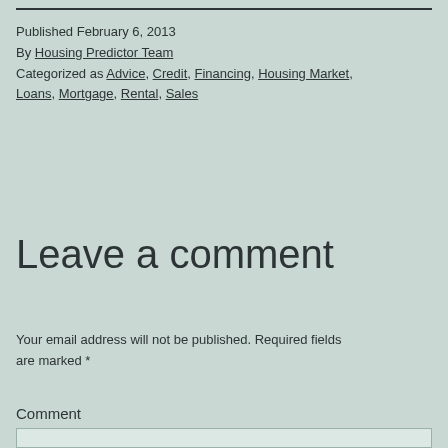Published February 6, 2013
By Housing Predictor Team
Categorized as Advice, Credit, Financing, Housing Market, Loans, Mortgage, Rental, Sales
Leave a comment
Your email address will not be published. Required fields are marked *
Comment